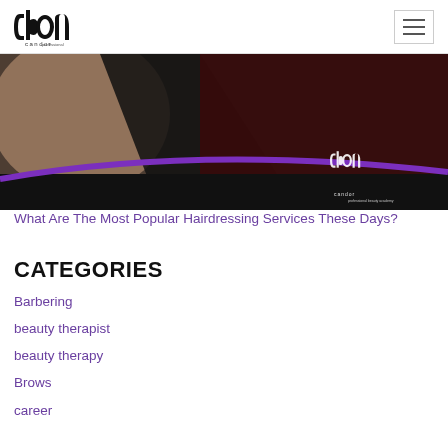[Figure (logo): CPBA Candor Professional Beauty Academy logo in black]
[Figure (photo): Hero image of hairdressing/hair salon scene with dark tones, purple swoosh and CPBA logo watermark in bottom right]
What Are The Most Popular Hairdressing Services These Days?
CATEGORIES
Barbering
beauty therapist
beauty therapy
Brows
career